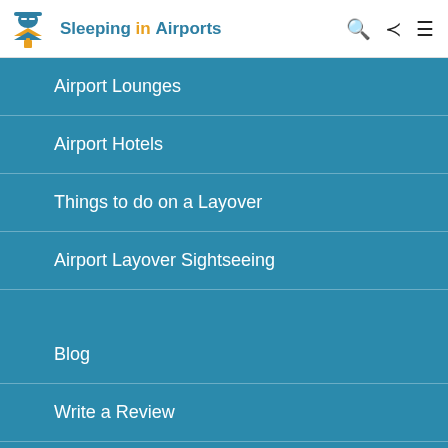Sleeping in Airports
Airport Lounges
Airport Hotels
Things to do on a Layover
Airport Layover Sightseeing
Blog
Write a Review
Take our Best & Worst Airports Survey
Sleeping in Airports FAQ